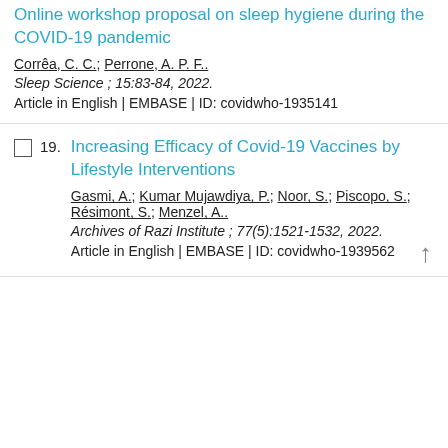Online workshop proposal on sleep hygiene during the COVID-19 pandemic. Corrêa, C. C.; Perrone, A. P. F.. Sleep Science ; 15:83-84, 2022. Article in English | EMBASE | ID: covidwho-1935141
19. Increasing Efficacy of Covid-19 Vaccines by Lifestyle Interventions. Gasmi, A.; Kumar Mujawdiya, P.; Noor, S.; Piscopo, S.; Résimont, S.; Menzel, A.. Archives of Razi Institute ; 77(5):1521-1532, 2022. Article in English | EMBASE | ID: covidwho-1939562